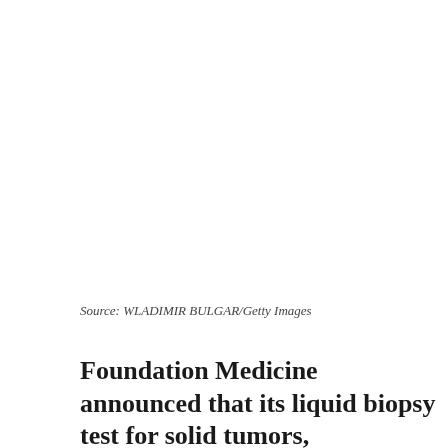[Figure (photo): White/blank image area at top of page (image not visible in this crop)]
Source: WLADIMIR BULGAR/Getty Images
Foundation Medicine announced that its liquid biopsy test for solid tumors, FoundationOne Liquid, is commercially available in the United States. The test